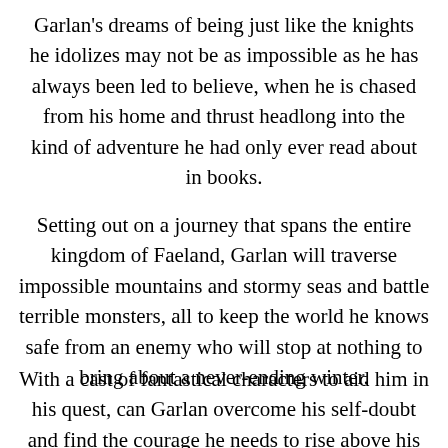Garlan's dreams of being just like the knights he idolizes may not be as impossible as he has always been led to believe, when he is chased from his home and thrust headlong into the kind of adventure he had only ever read about in books.
Setting out on a journey that spans the entire kingdom of Faeland, Garlan will traverse impossible mountains and stormy seas and battle terrible monsters, all to keep the world he knows safe from an enemy who will stop at nothing to bring about a never-ending winter.
With a cast of fantastical characters to aid him in his quest, can Garlan overcome his self-doubt and find the courage he needs to rise above his humble station and